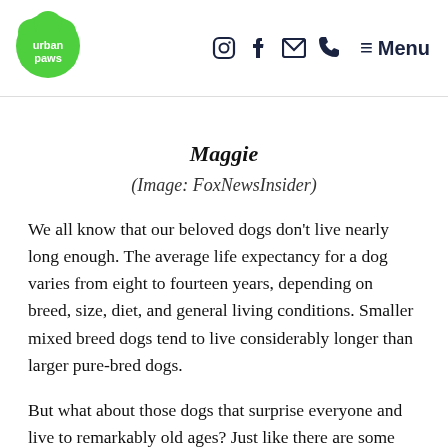urban paws | Instagram Facebook Email Phone | Menu
Maggie
(Image: FoxNewsInsider)
We all know that our beloved dogs don't live nearly long enough. The average life expectancy for a dog varies from eight to fourteen years, depending on breed, size, diet, and general living conditions. Smaller mixed breed dogs tend to live considerably longer than larger pure-bred dogs.
But what about those dogs that surprise everyone and live to remarkably old ages? Just like there are some rare humans that are still here well into their